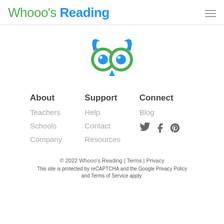Whooo's Reading
[Figure (logo): Whooo's Reading owl logo — stylized owl face with blue ear tufts, green circular eyes with blue pupils, and a blue beak, centered on the page]
About
Support
Connect
Teachers
Help
Blog
Schools
Contact
Company
Resources
© 2022 Whooo's Reading | Terms | Privacy
This site is protected by reCAPTCHA and the Google Privacy Policy and Terms of Service apply.